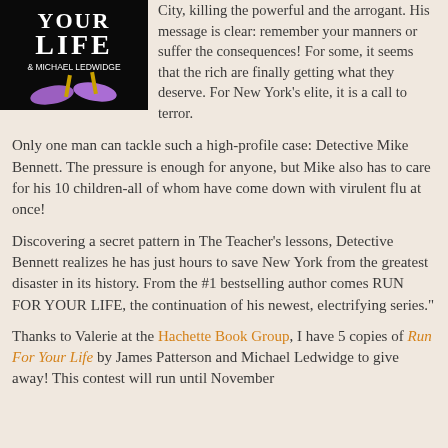[Figure (illustration): Book cover of 'Run For Your Life' by James Patterson and Michael Ledwidge, showing purple high-heel shoes on a black background with white text]
City, killing the powerful and the arrogant. His message is clear: remember your manners or suffer the consequences! For some, it seems that the rich are finally getting what they deserve. For New York's elite, it is a call to terror.
Only one man can tackle such a high-profile case: Detective Mike Bennett. The pressure is enough for anyone, but Mike also has to care for his 10 children-all of whom have come down with virulent flu at once!
Discovering a secret pattern in The Teacher's lessons, Detective Bennett realizes he has just hours to save New York from the greatest disaster in its history. From the #1 bestselling author comes RUN FOR YOUR LIFE, the continuation of his newest, electrifying series."
Thanks to Valerie at the Hachette Book Group, I have 5 copies of Run For Your Life by James Patterson and Michael Ledwidge to give away! This contest will run until November 6, 2009...